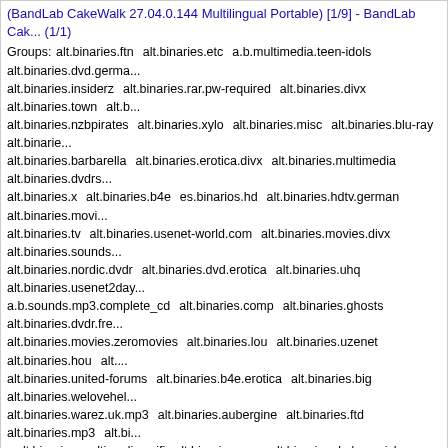(BandLab CakeWalk 27.04.0.144 Multilingual Portable) [1/9] - BandLab Cake... (1/1)
Groups: alt.binaries.ftn alt.binaries.etc a.b.multimedia.teen-idols alt.binaries.dvd.germa... alt.binaries.insiderz alt.binaries.rar.pw-required alt.binaries.divx alt.binaries.town alt.b... alt.binaries.nzbpirates alt.binaries.xylo alt.binaries.misc alt.binaries.blu-ray alt.binarie... alt.binaries.barbarella alt.binaries.erotica.divx alt.binaries.multimedia alt.binaries.dvdrs... alt.binaries.x alt.binaries.b4e es.binarios.hd alt.binaries.hdtv.german alt.binaries.movi... alt.binaries.tv alt.binaries.usenet-world.com alt.binaries.movies.divx alt.binaries.sounds... alt.binaries.nordic.dvdr alt.binaries.dvd.erotica alt.binaries.uhq alt.binaries.usenet2day... a.b.sounds.mp3.complete_cd alt.binaries.comp alt.binaries.ghosts alt.binaries.dvdr.fre... alt.binaries.movies.zeromovies alt.binaries.lou alt.binaries.uzenet alt.binaries.hou alt.... alt.binaries.united-forums alt.binaries.b4e.erotica alt.binaries.big alt.binaries.welovehel... alt.binaries.warez.uk.mp3 alt.binaries.aubergine alt.binaries.ftd alt.binaries.mp3 alt.bi... alt.binaries.multimedia.scifi alt.binaries.pwp alt.binaries.dvd.spanish alt.binaries.erotic... alt.binaries.games.wii alt.binaries.the-terminal alt.binaries.unity alt.binaries.chello alt.b... alt.binaries.just4fun.nl alt.binaries.mom alt.binaries.de alt.binaries.dvdr alt.binaries.co...
Posted by: CPP-gebruiker@d omein.nl (CPP-Gebruiker)
NZBs for «» found on external sites